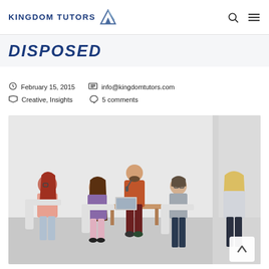KINGDOM TUTORS
DISPOSED
February 15, 2015   info@kingdomtutors.com   Creative, Insights   5 comments
[Figure (photo): A man standing and speaking into a microphone in front of a small group of seated people in a bright white room with a wooden table, in a tutoring or seminar setting.]